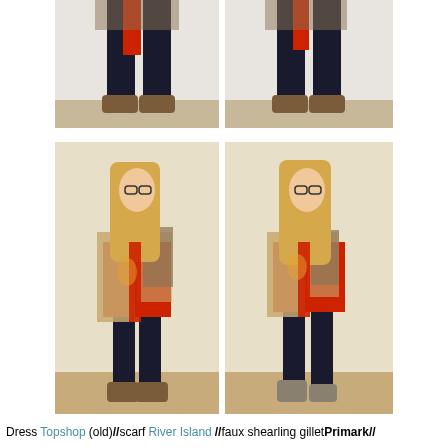[Figure (photo): Two side-by-side photos showing the lower half of a person wearing black tights and brown lace-up shoes, with a red scarf visible. White/neutral background.]
[Figure (photo): Two side-by-side full-body photos of a young woman with long blonde hair and glasses, wearing a red printed dress, faux shearling gillet, and black tights. Two poses shown.]
Dress Topshop (old) // scarf River Island // faux shearling gillet Primark //